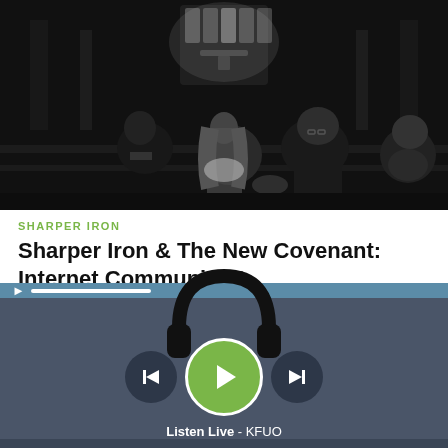[Figure (photo): Black and white photo of people sitting in church pews viewed from behind, stained glass window in background]
SHARPER IRON
Sharper Iron & The New Covenant: Internet Communion?
REV. JONATHAN FISK - FEBRUARY 2019
Rev. Sean Daenzer studies... 8-9 regarding what we
[Figure (screenshot): Audio player controls with headphones icon, play/pause button (green), skip forward/backward buttons, volume control, and progress bar on blue stripe]
Listen Live - KFUO
Now Playing: TIMOTHY SHAW (CPH) - THE TWENTY-THIRD PSALM